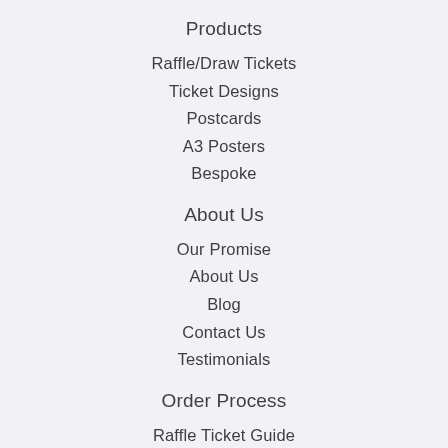Products
Raffle/Draw Tickets
Ticket Designs
Postcards
A3 Posters
Bespoke
About Us
Our Promise
About Us
Blog
Contact Us
Testimonials
Order Process
Raffle Ticket Guide
Ticket Prices
Delivery & Despatch Times
How Does it Work?
FAQ's